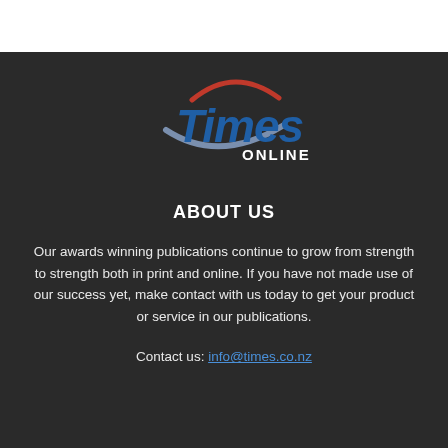[Figure (logo): Times Online logo with swoosh arcs in red and blue-grey, bold blue italic 'Times' text and 'ONLINE' in white letters]
ABOUT US
Our awards winning publications continue to grow from strength to strength both in print and online. If you have not made use of our success yet, make contact with us today to get your product or service in our publications.
Contact us: info@times.co.nz